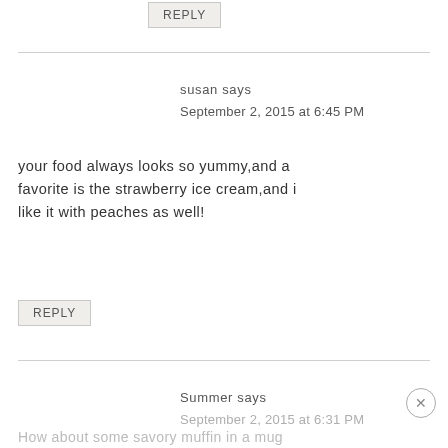REPLY
susan says
September 2, 2015 at 6:45 PM
your food always looks so yummy,and a favorite is the strawberry ice cream,and i like it with peaches as well!
REPLY
Summer says
September 2, 2015 at 6:31 PM
How about some savory muffin in a mug